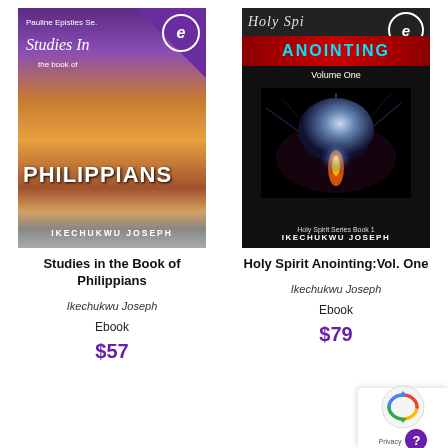[Figure (photo): Book cover of 'Studies in the Book of Philippians' by Ikechukwu Joseph, with purple corner, sunset landscape, open Bible, and Ebook badge]
[Figure (photo): Book cover of 'Holy Spirit Anointing Vol. One' by Ikechukwu Joseph with dark background, teal anointing text, glowing orb, and Ebook badge]
Studies in the Book of Philippians
Holy Spirit Anointing:Vol. One
Ikechukwu Joseph
Ikechukwu Joseph
Ebook
Ebook
$57
$79